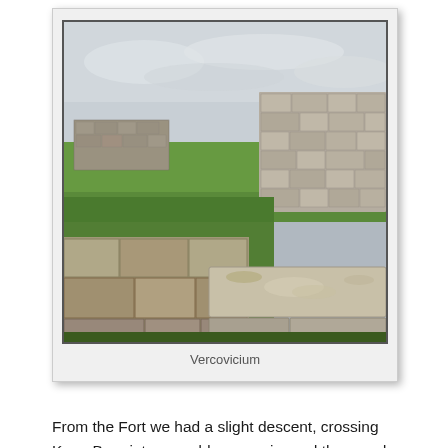[Figure (photo): Photograph of ancient Roman stone ruins at Vercovicium (Housesteads Fort), showing large stone walls and green grass under a cloudy sky.]
Vercovicium
From the Fort we had a slight descent, crossing Knag Burn into a muddy quagmire and then made our way to the far side of the wall to climb beside it up Kennel Crags. The path beside the wall then seemed to peter out. I looked across what was now just a stone dyke rathe than